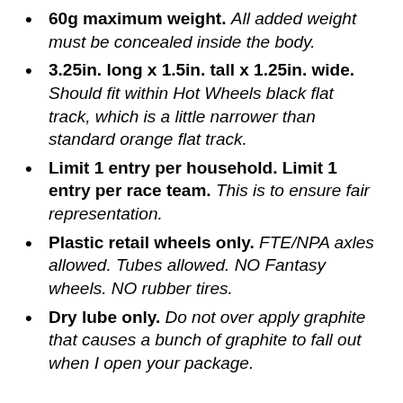60g maximum weight. All added weight must be concealed inside the body.
3.25in. long x 1.5in. tall x 1.25in. wide. Should fit within Hot Wheels black flat track, which is a little narrower than standard orange flat track.
Limit 1 entry per household. Limit 1 entry per race team. This is to ensure fair representation.
Plastic retail wheels only. FTE/NPA axles allowed. Tubes allowed. NO Fantasy wheels. NO rubber tires.
Dry lube only. Do not over apply graphite that causes a bunch of graphite to fall out when I open your package.